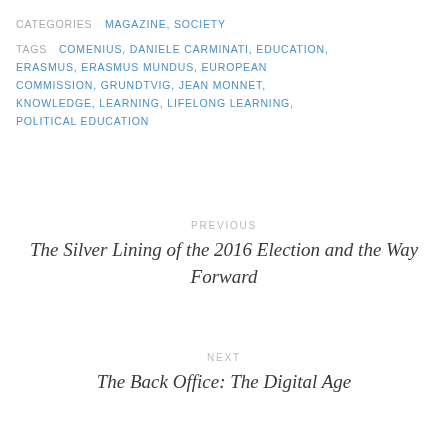CATEGORIES  MAGAZINE, SOCIETY
TAGS  COMENIUS, DANIELE CARMINATI, EDUCATION, ERASMUS, ERASMUS MUNDUS, EUROPEAN COMMISSION, GRUNDTVIG, JEAN MONNET, KNOWLEDGE, LEARNING, LIFELONG LEARNING, POLITICAL EDUCATION
PREVIOUS
The Silver Lining of the 2016 Election and the Way Forward
NEXT
The Back Office: The Digital Age